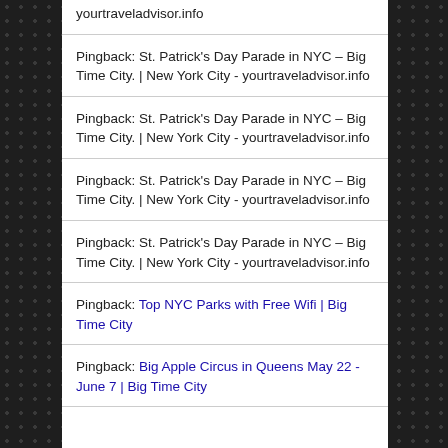Pingback: St. Patrick's Day Parade in NYC – Big Time City. | New York City - yourtraveladvisor.info
Pingback: St. Patrick's Day Parade in NYC – Big Time City. | New York City - yourtraveladvisor.info
Pingback: St. Patrick's Day Parade in NYC – Big Time City. | New York City - yourtraveladvisor.info
Pingback: St. Patrick's Day Parade in NYC – Big Time City. | New York City - yourtraveladvisor.info
Pingback: Top NYC Parks with Free Wifi | Big Time City
Pingback: Big Apple Circus in Queens May 22 - June 7 | Big Time City